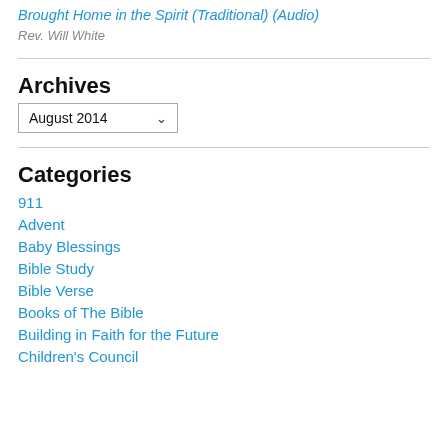Brought Home in the Spirit (Traditional) (Audio)
Rev. Will White
Archives
August 2014
Categories
911
Advent
Baby Blessings
Bible Study
Bible Verse
Books of The Bible
Building in Faith for the Future
Children's Council